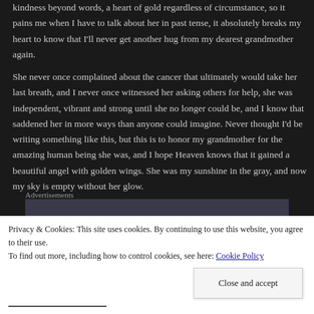kindness beyond words, a heart of gold regardless of circumstance, so it pains me when I have to talk about her in past tense, it absolutely breaks my heart to know that I'll never get another hug from my dearest grandmother again.
She never once complained about the cancer that ultimately would take her last breath, and I never once witnessed her asking others for help, she was independent, vibrant and strong until she no longer could be, and I know that saddened her in more ways than anyone could imagine. Never thought I'd be writing something like this, but this is to honor my grandmother for the amazing human being she was, and I hope Heaven knows that it gained a beautiful angel with golden wings. She was my sunshine in the gray, and now my sky is empty without her glow.
Advertisements
Privacy & Cookies: This site uses cookies. By continuing to use this website, you agree to their use.
To find out more, including how to control cookies, see here: Cookie Policy
Close and accept